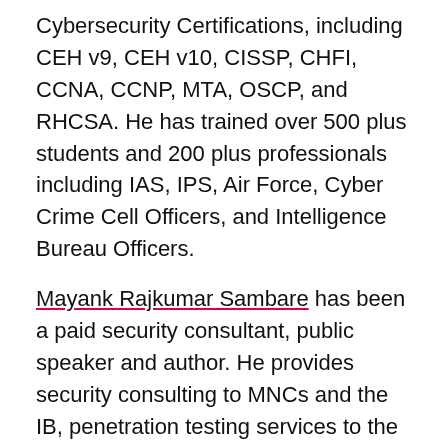Cybersecurity Certifications, including CEH v9, CEH v10, CISSP, CHFI, CCNA, CCNP, MTA, OSCP, and RHCSA. He has trained over 500 plus students and 200 plus professionals including IAS, IPS, Air Force, Cyber Crime Cell Officers, and Intelligence Bureau Officers.
Mayank Rajkumar Sambare has been a paid security consultant, public speaker and author. He provides security consulting to MNCs and the IB, penetration testing services to the world's largest corporations, and Social Engineering classes to dozens of businesses and government agencies. His company CODELANCER INCORPORATION is headquartered in Nagpur, Maharashtra, India, where he currently resides. Mayank Rajkumar Sambare is Public Figure as Multi-Talented guy as an Ethical Hacker, Cyber Security Expert, Global Tech Speaker, Cyber Forensic Investigator. Apart from all of this, He is a True hearted man. He trained many students for free.